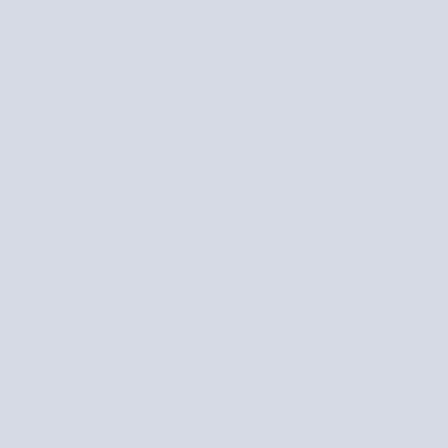Lectu
8pm
Among discu
UCon Band
| Sun, Mar 13 2016 | Mon, Mar 14 2016 | Tue, M |
| --- | --- | --- |
| All Day
SOT Annual Meeting | All Day
PDA Annual Meeting | All Day
4th S Paym |